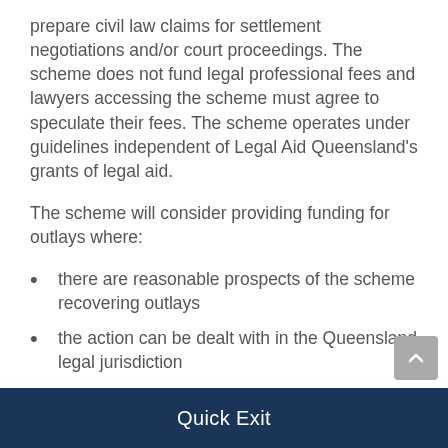prepare civil law claims for settlement negotiations and/or court proceedings. The scheme does not fund legal professional fees and lawyers accessing the scheme must agree to speculate their fees. The scheme operates under guidelines independent of Legal Aid Queensland’s grants of legal aid.
The scheme will consider providing funding for outlays where:
there are reasonable prospects of the scheme recovering outlays
the action can be dealt with in the Queensland legal jurisdiction
an approved firm is willing to act on a speculative basis for their professional fees.
Quick Exit